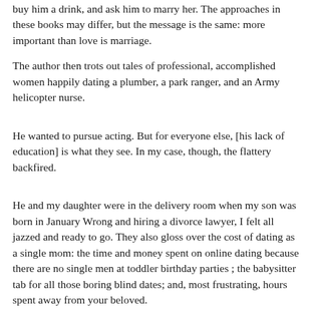buy him a drink, and ask him to marry her. The approaches in these books may differ, but the message is the same: more important than love is marriage.
The author then trots out tales of professional, accomplished women happily dating a plumber, a park ranger, and an Army helicopter nurse.
He wanted to pursue acting. But for everyone else, [his lack of education] is what they see. In my case, though, the flattery backfired.
He and my daughter were in the delivery room when my son was born in January Wrong and hiring a divorce lawyer, I felt all jazzed and ready to go. They also gloss over the cost of dating as a single mom: the time and money spent on online dating because there are no single men at toddler birthday parties ; the babysitter tab for all those boring blind dates; and, most frustrating, hours spent away from your beloved.
At the end of the evening, we rush home to pay the babysitter, make any houseguest tiptoe around and speak in a hushed voice,